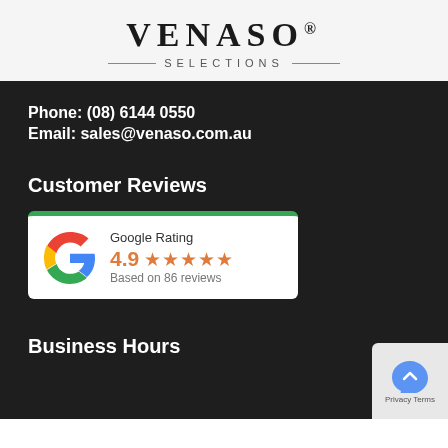VENASO® SELECTIONS
Phone: (08) 6144 0550
Email: sales@venaso.com.au
Customer Reviews
[Figure (infographic): Google Rating widget showing 4.9 stars based on 86 reviews]
Business Hours